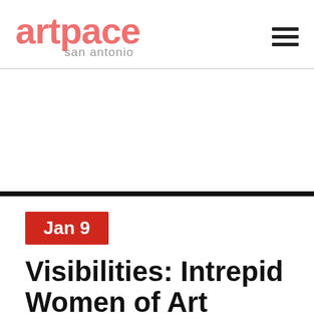[Figure (logo): Artpace San Antonio logo in salmon/coral pink color with 'artpace' in large bold text and 'san antonio' in smaller gray text below]
Jan 9
Visibilities: Intrepid Women of Art...